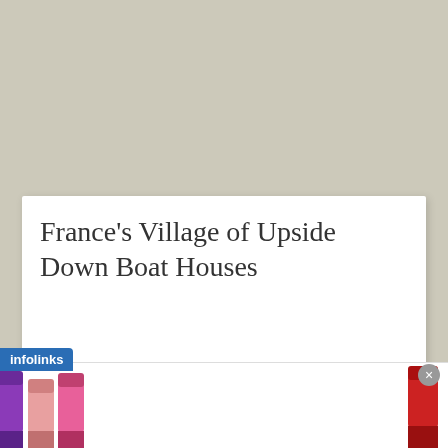France’s Village of Upside Down Boat Houses
[Figure (screenshot): An advertisement banner for M·A·C cosmetics showing lipsticks, the MAC logo, and a 'SHOP NOW' button. The infolinks badge is shown at the top left of the banner.]